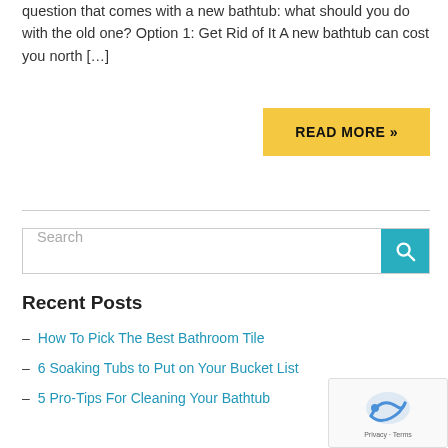question that comes with a new bathtub: what should you do with the old one? Option 1: Get Rid of It A new bathtub can cost you north […]
READ MORE »
Search
Recent Posts
– How To Pick The Best Bathroom Tile
– 6 Soaking Tubs to Put on Your Bucket List
– 5 Pro-Tips For Cleaning Your Bathtub